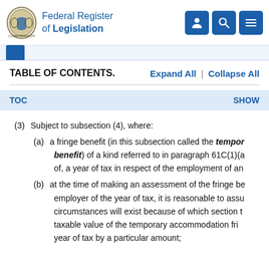Federal Register of Legislation
TABLE OF CONTENTS.   Expand All  |  Collapse All
TOC   SHOW
(3)  Subject to subsection (4), where:
(a)  a fringe benefit (in this subsection called the temporary accommodation benefit) of a kind referred to in paragraph 61C(1)(a of, a year of tax in respect of the employment of an
(b)  at the time of making an assessment of the fringe be employer of the year of tax, it is reasonable to assu circumstances will exist because of which section t taxable value of the temporary accommodation fri year of tax by a particular amount;